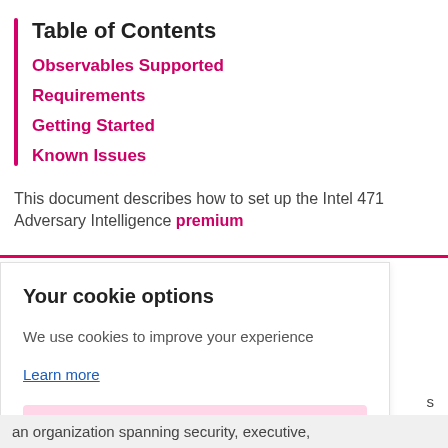Table of Contents
Observables Supported
Requirements
Getting Started
Known Issues
This document describes how to set up the Intel 471 Adversary Intelligence premium
Your cookie options
We use cookies to improve your experience
Learn more
Dismiss
an organization spanning security, executive,